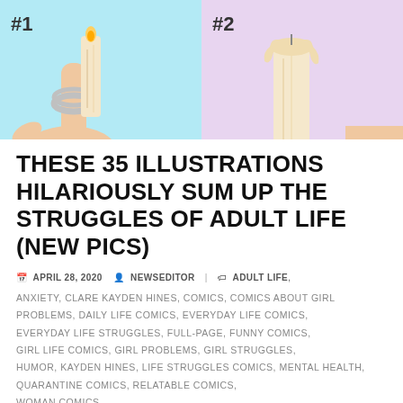[Figure (illustration): Two-panel comic illustration. Left panel (#1) has light blue background showing a finger with a ring and a candle. Right panel (#2) has light purple/lavender background showing a candle with melted wax top.]
THESE 35 ILLUSTRATIONS HILARIOUSLY SUM UP THE STRUGGLES OF ADULT LIFE (NEW PICS)
APRIL 28, 2020   NEWSEDITOR  |  ADULT LIFE, ANXIETY, CLARE KAYDEN HINES, COMICS, COMICS ABOUT GIRL PROBLEMS, DAILY LIFE COMICS, EVERYDAY LIFE COMICS, EVERYDAY LIFE STRUGGLES, FULL-PAGE, FUNNY COMICS, GIRL LIFE COMICS, GIRL PROBLEMS, GIRL STRUGGLES, HUMOR, KAYDEN HINES, LIFE STRUGGLES COMICS, MENTAL HEALTH, QUARANTINE COMICS, RELATABLE COMICS, WOMAN COMICS
Clare Kayden Hines is a writer and illustrator who